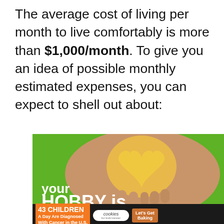The average cost of living per month to live comfortably is more than $1,000/month. To give you an idea of possible monthly estimated expenses, you can expect to shell out about:
[Figure (screenshot): Advertisement: green background showing hands holding a heart-shaped cookie, with 'cookies for kids cancer' logo, text 'your HOBBY is' visible. Overlaid bottom ad bar: '43 CHILDREN A Day Are Diagnosed With Cancer in the U.S.' with cookies for kids cancer logo and 'Let's Get Baking' button. Sidebar with heart icon, share icon, and number 1. 'WHAT'S NEXT' teaser panel showing 'The 10 Most Liberal Smal...' with thumbnail image.]